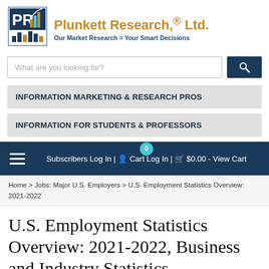[Figure (logo): Plunkett Research Ltd logo with blue and gold bar chart and line graph icon]
Plunkett Research,® Ltd.
Our Market Research = Your Smart Decisions
[Figure (screenshot): Search bar with placeholder text 'What are you looking for?' and a dark blue search button with magnifying glass icon]
INFORMATION MARKETING & RESEARCH PROS
INFORMATION FOR STUDENTS & PROFESSORS
Subscribers Log In | 🧑 Cart Log In | 🛒 $0.00 - View Cart
Home > Jobs: Major U.S. Employers > U.S. Employment Statistics Overview: 2021-2022
U.S. Employment Statistics Overview: 2021-2022, Business and Industry Statistics